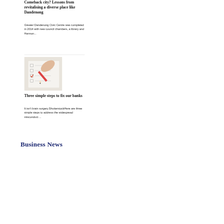Comeback city? Lessons from revitalising a diverse place like Dandenong
Greater Dandenong Civic Centre was completed in 2014 with new council chambers, a library and Harmon...
[Figure (photo): A hand holding a red pencil checking checkboxes on a paper form]
Three simple steps to fix our banks
It isn't brain surgery.ShutterstockHere are three simple steps to address the widespread misconduct ...
Business News